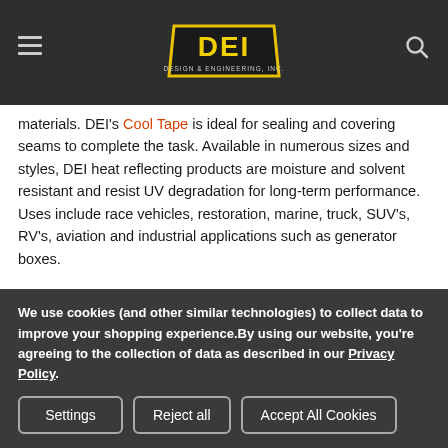DEI Design Engineering Inc. — navigation header with logo, hamburger menu, and search icon
[Figure (photo): Close-up product photo showing a metallic heat reflecting tape or material applied to a surface, with gold/yellow fibrous edge visible]
materials. DEI's Cool Tape is ideal for sealing and covering seams to complete the task. Available in numerous sizes and styles, DEI heat reflecting products are moisture and solvent resistant and resist UV degradation for long-term performance. Uses include race vehicles, restoration, marine, truck, SUV's, RV's, aviation and industrial applications such as generator boxes.
Why should I use them?
We use cookies (and other similar technologies) to collect data to improve your shopping experience.By using our website, you're agreeing to the collection of data as described in our Privacy Policy.